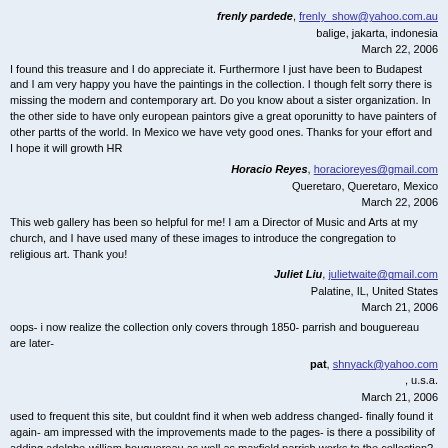frenly pardede, frenly_show@yahoo.com.au
balige, jakarta, indonesia
March 22, 2006
I found this treasure and I do appreciate it. Furthermore I just have been to Budapest and I am very happy you have the paintings in the collection. I though felt sorry there is missing the modern and contemporary art. Do you know about a sister organization. In the other side to have only european paintors give a great oporunitty to have painters of other partts of the world. In Mexico we have vety good ones. Thanks for your effort and I hope it will growth HR
Horacio Reyes, horacioreyes@gmail.com
Queretaro, Queretaro, Mexico
March 22, 2006
This web gallery has been so helpful for me! I am a Director of Music and Arts at my church, and I have used many of these images to introduce the congregation to religious art. Thank you!
Juliet Liu, julietwaite@gmail.com
Palatine, IL, United States
March 21, 2006
oops- i now realize the collection only covers through 1850- parrish and bouguereau are later-
pat, shnyack@yahoo.com
, u.s.a.
March 21, 2006
used to frequent this site, but couldnt find it when web address changed- finally found it again- am impressed with the improvements made to the pages- is there a possibility of adding adolphe-william bouguereau as well as maxfield parrish works to the collection? thanks for an completely enjoyable and relaxing web page!
pat, shnyack@yahoo.com
, u.s.a.
March 21, 2006